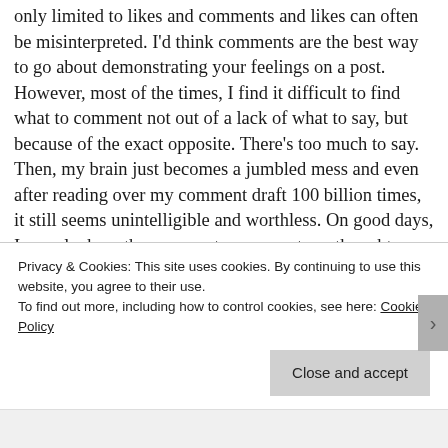only limited to likes and comments and likes can often be misinterpreted. I'd think comments are the best way to go about demonstrating your feelings on a post. However, most of the times, I find it difficult to find what to comment not out of a lack of what to say, but because of the exact opposite. There's too much to say. Then, my brain just becomes a jumbled mess and even after reading over my comment draft 100 billion times, it still seems unintelligible and worthless. On good days, I can pluck up the courage to comment my thoughts no matter how stupid it may look like now but otherwise, I just silently
Privacy & Cookies: This site uses cookies. By continuing to use this website, you agree to their use.
To find out more, including how to control cookies, see here: Cookie Policy
Close and accept